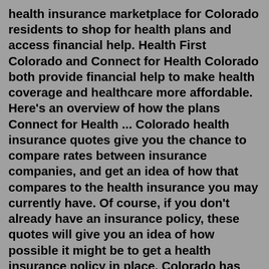health insurance marketplace for Colorado residents to shop for health plans and access financial help. Health First Colorado and Connect for Health Colorado both provide financial help to make health coverage and healthcare more affordable. Here's an overview of how the plans Connect for Health ... Colorado health insurance quotes give you the chance to compare rates between insurance companies, and get an idea of how that compares to the health insurance you may currently have. Of course, if you don't already have an insurance policy, these quotes will give you an idea of how possible it might be to get a health insurance policy in place. Colorado has been a leader in health coverage reform and follows the federal Affordable Care Act that requires all citizens to have health insurance. Colorado has actively pursued strategies to reduce the cost of insurance, including the development of a Public (state) Option, expected to be available in 2022.Location: Colorado City. Health Markets Overview. If youre looking for